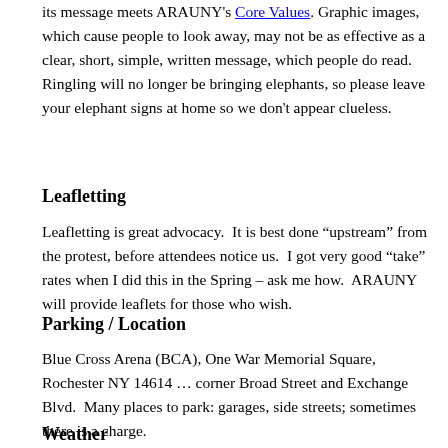its message meets ARAUNY's Core Values. Graphic images, which cause people to look away, may not be as effective as a clear, short, simple, written message, which people do read. Ringling will no longer be bringing elephants, so please leave your elephant signs at home so we don't appear clueless.
Leafletting
Leafletting is great advocacy.  It is best done “upstream” from the protest, before attendees notice us.  I got very good “take” rates when I did this in the Spring – ask me how.  ARAUNY will provide leaflets for those who wish.
Parking / Location
Blue Cross Arena (BCA), One War Memorial Square, Rochester NY 14614 … corner Broad Street and Exchange Blvd.  Many places to park: garages, side streets; sometimes there is a charge.
Weather